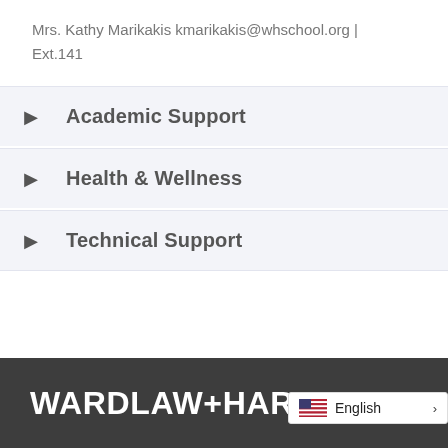Mrs. Kathy Marikakis kmarikakis@whschool.org | Ext.141
◄  Academic Support
◄  Health & Wellness
◄  Technical Support
WARDLAW+HARTRIDGE
🇺🇸 English >